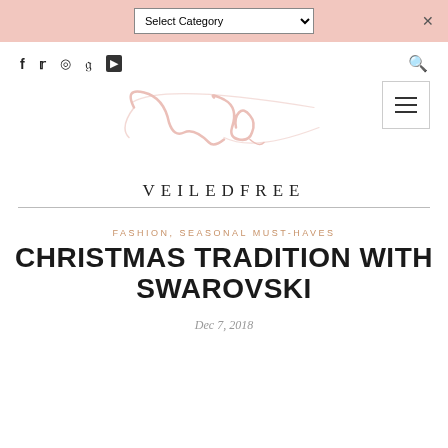Select Category [dropdown] ×
[Figure (logo): VeiledFree blog logo: cursive 'vb' script in rose pink above text VEILEDFREE in spaced serif capitals]
FASHION, SEASONAL MUST-HAVES
CHRISTMAS TRADITION WITH SWAROVSKI
Dec 7, 2018